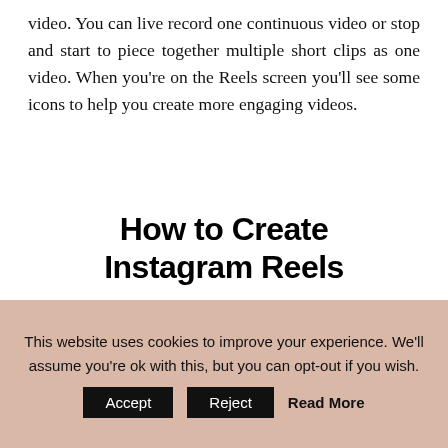video. You can live record one continuous video or stop and start to piece together multiple short clips as one video. When you're on the Reels screen you'll see some icons to help you create more engaging videos.
How to Create Instagram Reels
[Figure (screenshot): A smartphone showing the Instagram Reels screen at 10:15]
This website uses cookies to improve your experience. We'll assume you're ok with this, but you can opt-out if you wish.
Accept   Reject   Read More